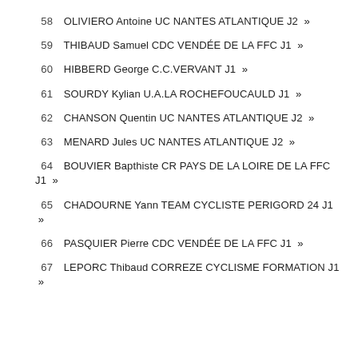58  OLIVIERO Antoine UC NANTES ATLANTIQUE J2  »
59  THIBAUD Samuel CDC VENDÉE DE LA FFC J1  »
60  HIBBERD George C.C.VERVANT J1  »
61  SOURDY Kylian U.A.LA ROCHEFOUCAULD J1  »
62  CHANSON Quentin UC NANTES ATLANTIQUE J2  »
63  MENARD Jules UC NANTES ATLANTIQUE J2  »
64  BOUVIER Bapthiste CR PAYS DE LA LOIRE DE LA FFC J1  »
65  CHADOURNE Yann TEAM CYCLISTE PERIGORD 24 J1  »
66  PASQUIER Pierre CDC VENDÉE DE LA FFC J1  »
67  LEPORC Thibaud CORREZE CYCLISME FORMATION J1  »